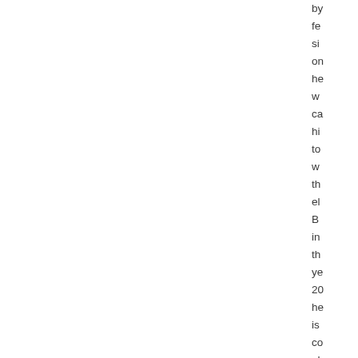by fe si on he w ca hi to w the el B in th ye 20 he is co al th un of th